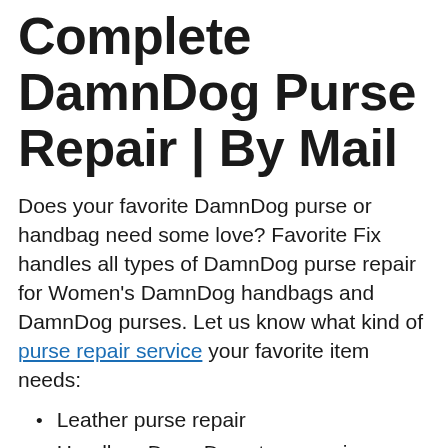Complete DamnDog Purse Repair | By Mail
Does your favorite DamnDog purse or handbag need some love? Favorite Fix handles all types of DamnDog purse repair for Women's DamnDog handbags and DamnDog purses. Let us know what kind of purse repair service your favorite item needs:
Leather purse repair
Handbag DamnDog strap repair
Leather repair / color and restoration
DamnDog purse liner cleaning
Purse liner replacement or liner